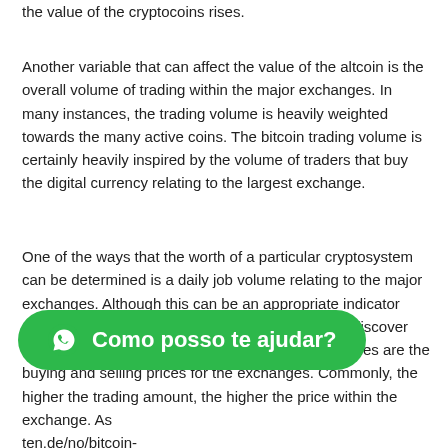the value of the cryptocoins rises.
Another variable that can affect the value of the altcoin is the overall volume of trading within the major exchanges. In many instances, the trading volume is heavily weighted towards the many active coins. The bitcoin trading volume is certainly heavily inspired by the volume of traders that buy the digital currency relating to the largest exchange.
One of the ways that the worth of a particular cryptosystem can be determined is a daily job volume relating to the major exchanges. Although this can be an appropriate indicator showing how volatile the industry can be, you will discover other indicators that buyers look into. Some examples are the buying and selling prices for the exchanges. Commonly, the higher the trading amount, the higher the price within the exchange. As [url]ten.de/no/bitcoin-[/url] [places] are often characterized by lower trading volumes, which indicate that
[Figure (other): WhatsApp chat button overlay with green rounded rectangle, WhatsApp icon, and text 'Como posso te ajudar?']